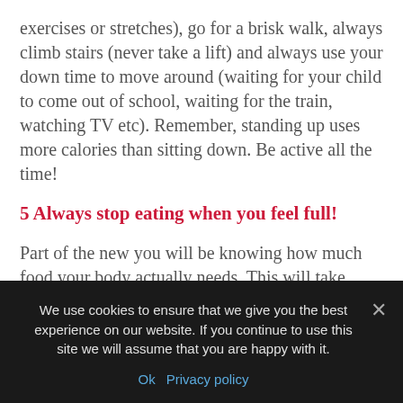exercises or stretches), go for a brisk walk, always climb stairs (never take a lift) and always use your down time to move around (waiting for your child to come out of school, waiting for the train, watching TV etc). Remember, standing up uses more calories than sitting down. Be active all the time!
5 Always stop eating when you feel full!
Part of the new you will be knowing how much food your body actually needs. This will take some time, but part of the process is to stop eating when you feel just a little bit full...and don't worry about leaving food on your plate – even if you are eating out! It will really help
We use cookies to ensure that we give you the best experience on our website. If you continue to use this site we will assume that you are happy with it. Ok Privacy policy